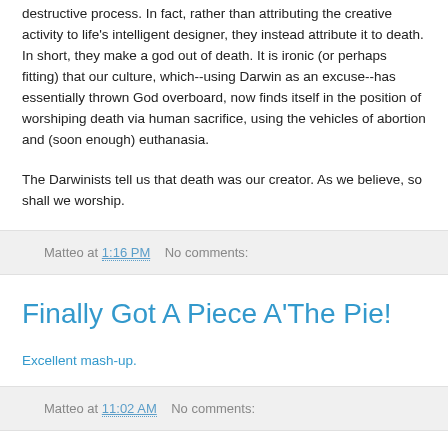destructive process. In fact, rather than attributing the creative activity to life's intelligent designer, they instead attribute it to death. In short, they make a god out of death. It is ironic (or perhaps fitting) that our culture, which--using Darwin as an excuse--has essentially thrown God overboard, now finds itself in the position of worshiping death via human sacrifice, using the vehicles of abortion and (soon enough) euthanasia.
The Darwinists tell us that death was our creator. As we believe, so shall we worship.
Matteo at 1:16 PM   No comments:
Finally Got A Piece A'The Pie!
Excellent mash-up.
Matteo at 11:02 AM   No comments: